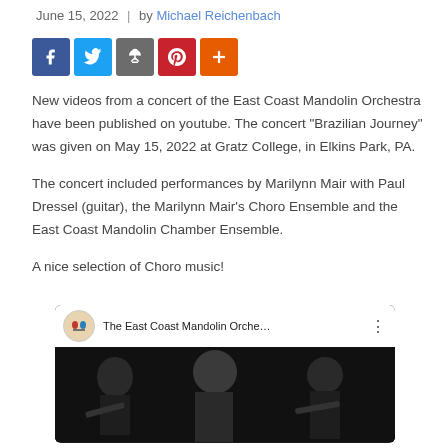June 15, 2022  |  by Michael Reichenbach
[Figure (other): Social media sharing icons: Facebook (blue), Twitter (light blue), Share/antenna (grey), Pinterest (red), More/plus (orange)]
New videos from a concert of the East Coast Mandolin Orchestra have been published on youtube. The concert "Brazilian Journey" was given on May 15, 2022 at Gratz College, in Elkins Park, PA.
The concert included performances by Marilynn Mair with Paul Dressel (guitar), the Marilynn Mair's Choro Ensemble and the East Coast Mandolin Chamber Ensemble.
A nice selection of Choro music!
[Figure (screenshot): YouTube video thumbnail showing 'The East Coast Mandolin Orche...' with musicians in dark clothing wearing masks playing instruments on a dark stage. Red YouTube play button in center.]